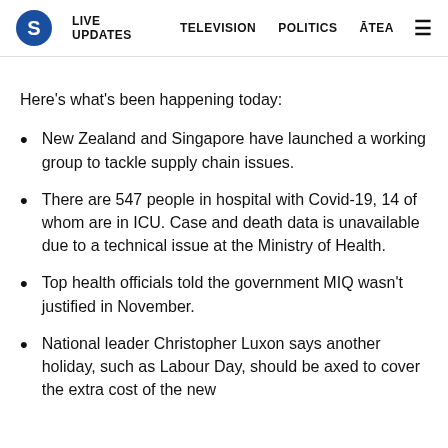S  LIVE UPDATES  TELEVISION  POLITICS  ĀTEA  ≡
Here's what's been happening today:
New Zealand and Singapore have launched a working group to tackle supply chain issues.
There are 547 people in hospital with Covid-19, 14 of whom are in ICU. Case and death data is unavailable due to a technical issue at the Ministry of Health.
Top health officials told the government MIQ wasn't justified in November.
National leader Christopher Luxon says another holiday, such as Labour Day, should be axed to cover the extra cost of the new